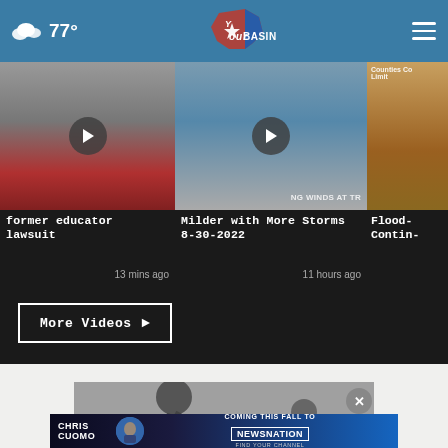77° YourBasin
[Figure (screenshot): Video card: former educator lawsuit, 13 mins ago]
[Figure (screenshot): Video card: Milder with More Storms 8-30-2022, 11 hours ago]
[Figure (screenshot): Video card: Flood- Contin- (partially visible)]
More Videos ▶
[Figure (photo): Black and white photo of a person leaning over, with a child visible]
[Figure (infographic): Ad banner: Chris Cuomo, Coming This Fall To NewsNation, Find Your Channel]